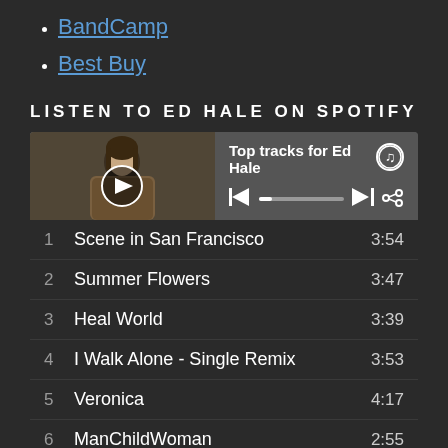BandCamp
Best Buy
LISTEN TO ED HALE ON SPOTIFY
[Figure (screenshot): Spotify embedded player widget showing 'Top tracks for Ed Hale' with album art photo of a man with long hair in a fur coat, play button, progress bar, skip and share controls, and Spotify logo]
| # | Track | Duration |
| --- | --- | --- |
| 1 | Scene in San Francisco | 3:54 |
| 2 | Summer Flowers | 3:47 |
| 3 | Heal World | 3:39 |
| 4 | I Walk Alone - Single Remix | 3:53 |
| 5 | Veronica | 4:17 |
| 6 | ManChildWoman | 2:55 |
| 7 | The Prince of New York | 3:37 |